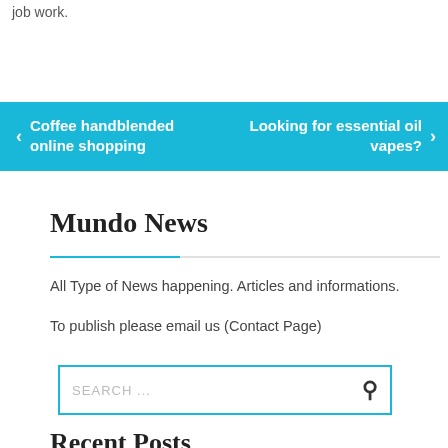job work.
[Figure (screenshot): Navigation bar with cyan/blue background showing two navigation links: 'Coffee handblended online shopping' on the left with a left arrow, and 'Looking for essential oil vapes?' on the right with a right arrow.]
Mundo News
All Type of News happening. Articles and informations.
To publish please email us (Contact Page)
SEARCH ...
Recent Posts